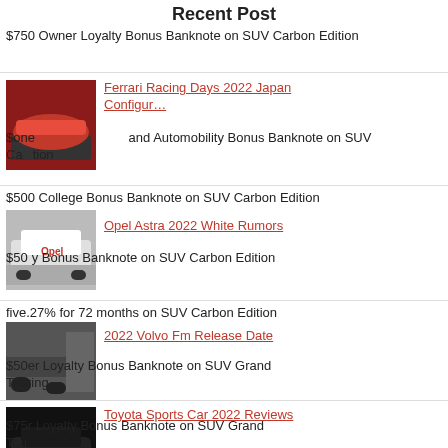Recent Post
$750 Owner Loyalty Bonus Banknote on SUV Carbon Edition
[Figure (photo): Red sports car thumbnail]
Ferrari Racing Days 2022 Japan Configur…
$one and Automobility Bonus Banknote on SUV Carbon Edition
[Figure (photo): White Opel Astra car thumbnail]
Opel Astra 2022 White Rumors
$500 College Bonus Banknote on SUV Carbon Edition
$50 y Bonus Banknote on SUV Carbon Edition
five.27% for 72 months on SUV Carbon Edition
[Figure (photo): Volvo truck thumbnail]
2022 Volvo Fm Release Date
$50 er Loyalty Bonus Banknote on SUV Grand Touring
[Figure (photo): Dark car thumbnail]
Toyota Sports Car 2022 Reviews
$75 r Loyalty Bonus Banknote on SUV Grand Touring
$one thousand Automobility Bonus Banknote on SUV Grand Touring